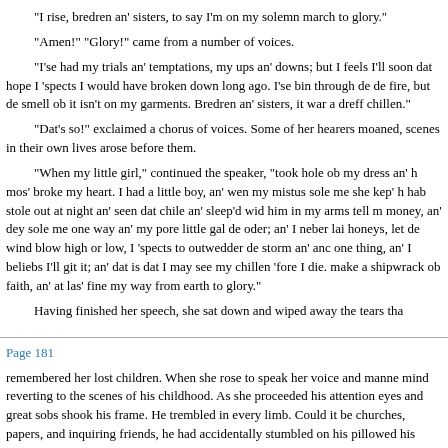"I rise, bredren an' sisters, to say I'm on my solemn march to glory."
"Amen!" "Glory!" came from a number of voices.
"I'se had my trials an' temptations, my ups an' downs; but I feels I'll soon dat hope I 'spects I would have broken down long ago. I'se bin through de de fire, but de smell ob it isn't on my garments. Bredren an' sisters, it war a dreff chillen."
"Dat's so!" exclaimed a chorus of voices. Some of her hearers moaned, scenes in their own lives arose before them.
"When my little girl," continued the speaker, "took hole ob my dress an' h mos' broke my heart. I had a little boy, an' wen my mistus sole me she kep' h hab stole out at night an' seen dat chile an' sleep'd wid him in my arms tell m money, an' dey sole me one way an' my pore little gal de oder; an' I neber lai honeys, let de wind blow high or low, I 'spects to outwedder de storm an' anc one thing, an' I beliebs I'll git it; an' dat is dat I may see my chillen 'fore I die. make a shipwrack ob faith, an' at las' fine my way from earth to glory."
Having finished her speech, she sat down and wiped away the tears tha
Page 181
remembered her lost children. When she rose to speak her voice and manne mind reverting to the scenes of his childhood. As she proceeded his attention eyes and great sobs shook his frame. He trembled in every limb. Could it be churches, papers, and inquiring friends, he had accidentally stumbled on his pillowed his head upon her bosom and left her parting kiss upon his lips? Ho joy do what years of sorrow had failed to accomplish? Controlling his feeling